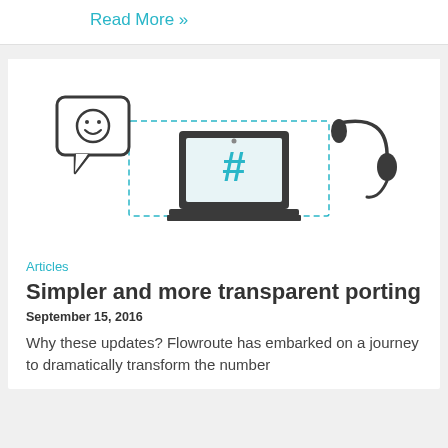Read More »
[Figure (illustration): Illustration showing a chat bubble with a smiley face on the left, a laptop with a hash symbol (#) in the center, and a headset on the right, connected by dashed lines forming a rectangular path.]
Articles
Simpler and more transparent porting
September 15, 2016
Why these updates? Flowroute has embarked on a journey to dramatically transform the number